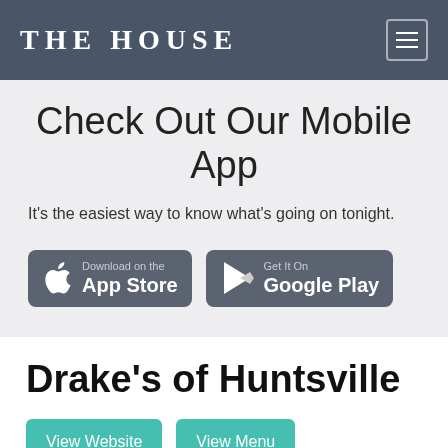THE HOUSE
Check Out Our Mobile App
It's the easiest way to know what's going on tonight.
[Figure (screenshot): App Store download button (dark rounded rectangle with Apple logo icon and text 'Download on the App Store')]
[Figure (screenshot): Google Play download button (dark rounded rectangle with Play Store triangle icon and text 'Get It On Google Play')]
Drake's of Huntsville
View Website | View Menu